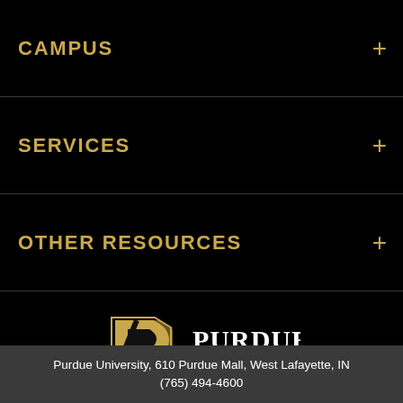CAMPUS
SERVICES
OTHER RESOURCES
[Figure (logo): Purdue University logo with stylized P and PURDUE UNIVERSITY text]
[Figure (infographic): Social media icons row: Facebook, Twitter, YouTube, Instagram, Pinterest, Snapchat, LinkedIn]
Purdue University, 610 Purdue Mall, West Lafayette, IN